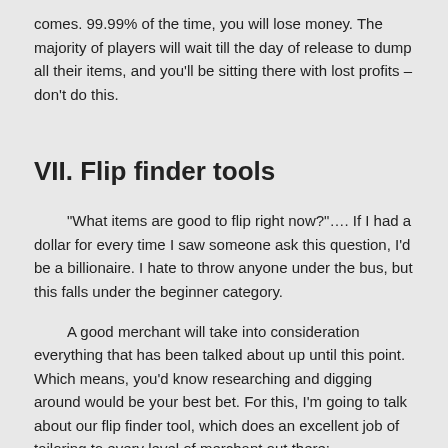comes. 99.99% of the time, you will lose money. The majority of players will wait till the day of release to dump all their items, and you'll be sitting there with lost profits – don't do this.
VII. Flip finder tools
“What items are good to flip right now?”…. If I had a dollar for every time I saw someone ask this question, I’d be a billionaire. I hate to throw anyone under the bus, but this falls under the beginner category.
A good merchant will take into consideration everything that has been talked about up until this point. Which means, you’d know researching and digging around would be your best bet. For this, I’m going to talk about our flip finder tool, which does an excellent job of tailoring to every level of merchant out there:
Beginners – Average - Masterminds